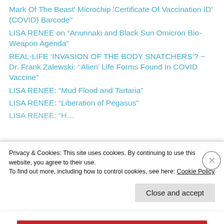Mark Of The Beast' Microchip 'Certificate Of Vaccination ID' (COVID) Barcode"
LISA RENEE on “Anunnaki and Black Sun Omicron Bio-Weapon Agenda”
REAL-LIFE ‘INVASION OF THE BODY SNATCHERS’? ~ Dr. Frank Zalewski: ‘‘Alien’ Life Forms Found In COVID Vaccine”
LISA RENEE: “Mud Flood and Tartaria”
LISA RENEE: “Liberation of Pegasus”
LISA RENEE: “Humanity...”
Privacy & Cookies: This site uses cookies. By continuing to use this website, you agree to their use.
To find out more, including how to control cookies, see here: Cookie Policy